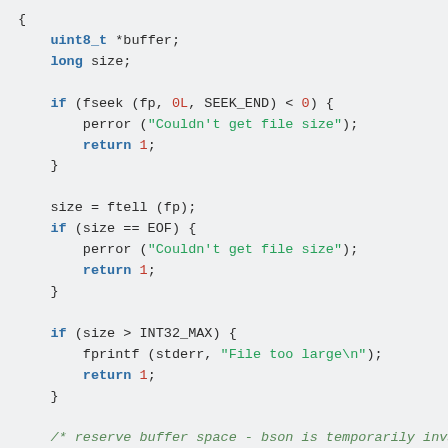C code snippet showing file reading with error handling: uint8_t *buffer; long size; fseek/ftell checks, INT32_MAX guard, buffer reservation